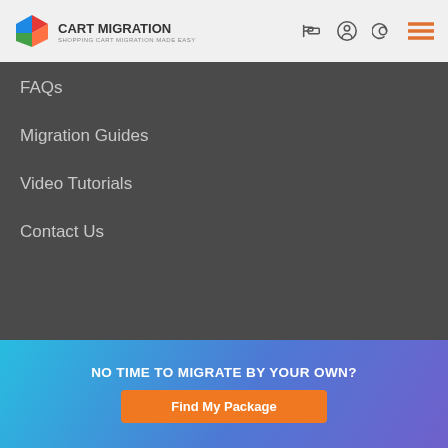CART MIGRATION - SHOPPING CART MIGRATION MADE EASY
FAQs
Migration Guides
Video Tutorials
Contact Us
Copyright © 2020 CartMigration.com - All Rights Reserved. Powered by
[Figure (logo): Payment logos: Mastercard, Skrill, VISA, American Express, PayPal, Paymentwall]
NO TIME TO MIGRATE BY YOUR OWN?
Find My Package